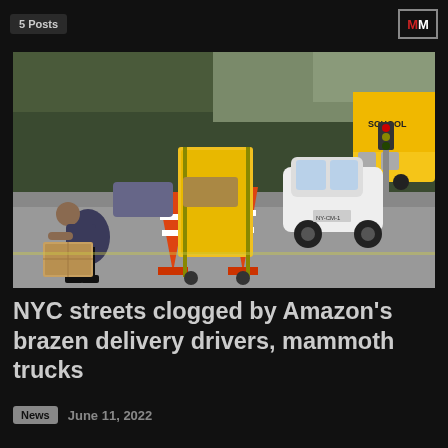5 Posts | MM
[Figure (photo): NYC street scene with delivery workers bending over packages next to large yellow cargo carts and orange traffic cones, with cars including a white smart car and yellow school bus in background]
NYC streets clogged by Amazon's brazen delivery drivers, mammoth trucks
News   June 11, 2022